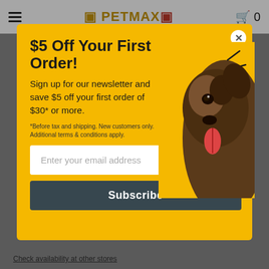[Figure (screenshot): PetMax website header with hamburger menu, logo, and cart icon]
$5 Off Your First Order!
Sign up for our newsletter and save $5 off your first order of $30* or more.
*Before tax and shipping. New customers only. Additional terms & conditions apply.
[Figure (photo): Close-up photo of a German Shepherd dog's face with tongue out and motion lines suggesting excitement]
Enter your email address
Subscribe
Check availability at other stores